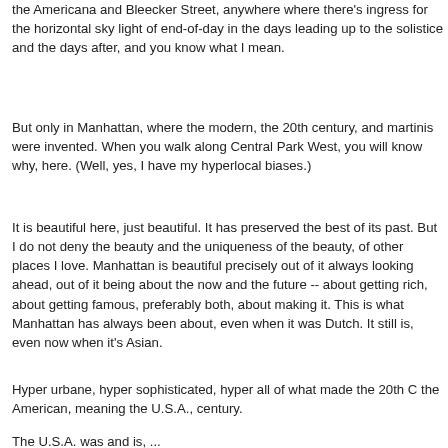the Americana and Bleecker Street, anywhere where there's ingress for the horizontal sky light of end-of-day in the days leading up to the solistice and the days after, and you know what I mean.
But only in Manhattan, where the modern, the 20th century, and martinis were invented. When you walk along Central Park West, you will know why, here. (Well, yes, I have my hyperlocal biases.)
It is beautiful here, just beautiful. It has preserved the best of its past. But I do not deny the beauty and the uniqueness of the beauty, of other places I love. Manhattan is beautiful precisely out of it always looking ahead, out of it being about the now and the future -- about getting rich, about getting famous, preferably both, about making it. This is what Manhattan has always been about, even when it was Dutch. It still is, even now when it's Asian.
Hyper urbane, hyper sophisticated, hyper all of what made the 20th C the American, meaning the U.S.A., century.
The U.S.A. was and is, ...